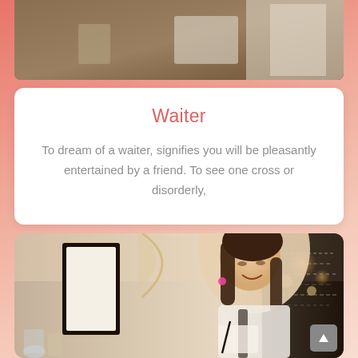[Figure (photo): Top portion of a photo showing a restaurant or kitchen scene with warm brown tones, partially visible at the top of the page]
Waiter
To dream of a waiter, signifies you will be pleasantly entertained by a friend. To see one cross or disorderly,
[Figure (photo): Photo of a smiling brunette waitress/server writing on a notepad, wearing an apron, in a restaurant setting with warm lighting and a chalkboard menu visible in the background]